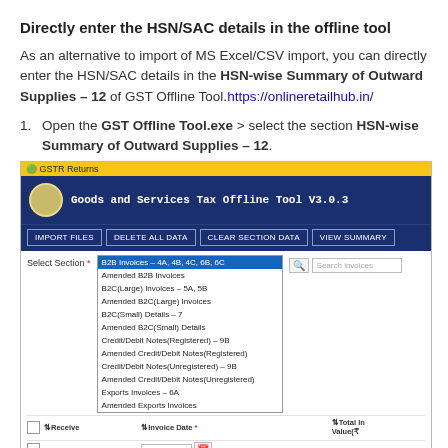Directly enter the HSN/SAC details in the offline tool
As an alternative to import of MS Excel/CSV import, you can directly enter the HSN/SAC details in the HSN-wise Summary of Outward Supplies – 12 of GST Offline Tool.https://onlineretailhub.in/
Open the GST Offline Tool.exe > select the section HSN-wise Summary of Outward Supplies – 12.
[Figure (screenshot): GST Offline Tool V3.0.3 application window showing the section selection dropdown with B2B Invoices highlighted and a list of sections including Amended B2B Invoices, B2C(Large) Invoices, etc.]